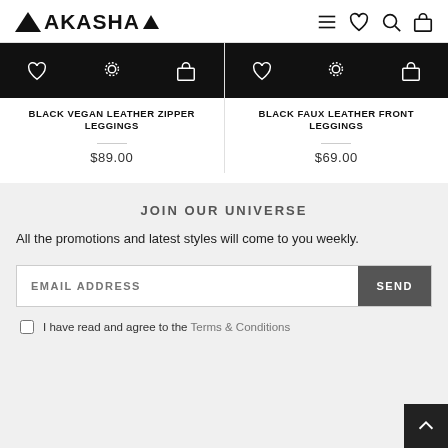AAKASHA
BLACK VEGAN LEATHER ZIPPER LEGGINGS
$89.00
BLACK FAUX LEATHER FRONT LEGGINGS
$69.00
JOIN OUR UNIVERSE
All the promotions and latest styles will come to you weekly.
EMAIL ADDRESS
SEND
I have read and agree to the Terms & Conditions